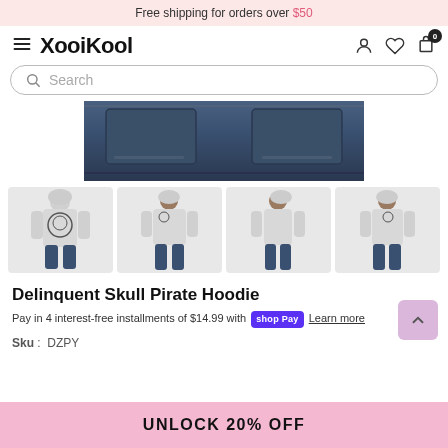Free shipping for orders over $50
[Figure (logo): XooiKool brand logo with hamburger menu icon and navigation icons (user, heart, cart with 0 badge)]
Search
[Figure (photo): Main product image showing the back pocket area of jeans/hoodie in dark denim blue]
[Figure (photo): Four thumbnail images of a man wearing the Delinquent Skull Pirate Hoodie in grey: back view showing skull print, front view, side view, and another front/side view]
Delinquent Skull Pirate Hoodie
Pay in 4 interest-free installments of $14.99 with shop Pay  Learn more
Sku :  DZPY
UNLOCK 20% OFF